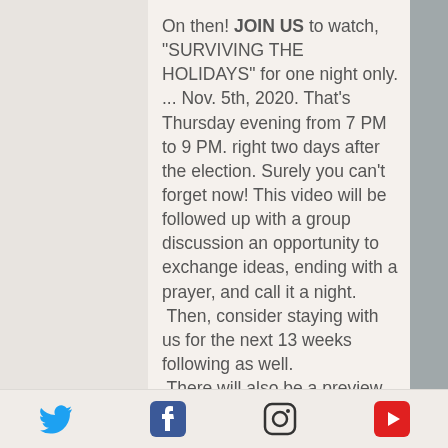On then! JOIN US to watch, "SURVIVING THE HOLIDAYS" for one night only. ... Nov. 5th, 2020. That's Thursday evening from 7 PM to 9 PM. right two days after the election. Surely you can't forget now! This video will be followed up with a group discussion an opportunity to exchange ideas, ending with a prayer, and call it a night.
 Then, consider staying with us for the next 13 weeks following as well.
 There will also be a preview of things to come for which you will need a workbook to go... where you have never gone before! On a 13-week educational & supportive adventure!
Twitter | Facebook | Instagram | YouTube